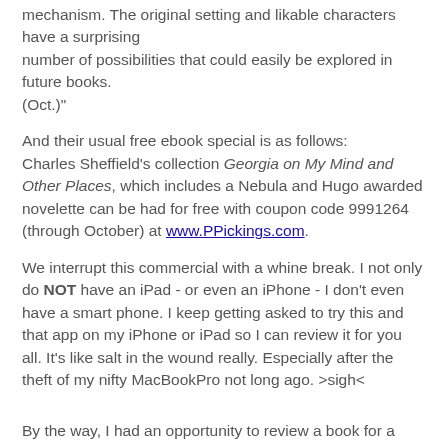mechanism. The original setting and likable characters have a surprising number of possibilities that could easily be explored in future books.
(Oct.)"
And their usual free ebook special is as follows:
Charles Sheffield's collection Georgia on My Mind and Other Places, which includes a Nebula and Hugo awarded novelette can be had for free with coupon code 9991264 (through October) at www.PPickings.com.
We interrupt this commercial with a whine break. I not only do NOT have an iPad - or even an iPhone - I don't even have a smart phone. I keep getting asked to try this and that app on my iPhone or iPad so I can review it for you all. It's like salt in the wound really. Especially after the theft of my nifty MacBookPro not long ago. >sigh<
By the way, I had an opportunity to review a book for a